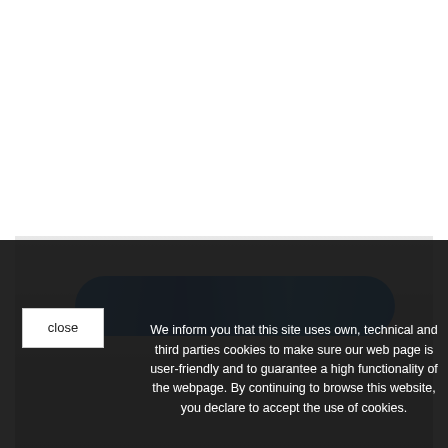[Figure (photo): Partial product photo with light gray background showing a blue rope/cord and black carabiner or climbing hardware elements at the bottom portion of the page, overlaid with a cookie consent banner.]
We inform you that this site uses own, technical and third parties cookies to make sure our web page is user-friendly and to guarantee a high functionality of the webpage. By continuing to browse this website, you declare to accept the use of cookies.
close